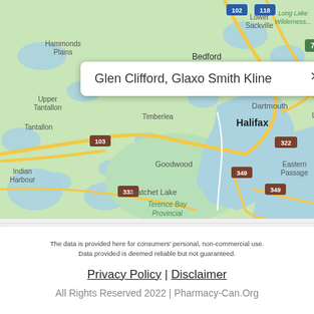[Figure (map): Google Maps screenshot showing Halifax, Nova Scotia area with surrounding communities: Lower Sackville, Hammonds Plains, Bedford, Upper Tantallon, Tantallon, Timberlea, Dartmouth, Halifax, Westphal, Lawrencetown, Eastern Passage, Goodwood, Hatchet Lake, Indian Harbour, Terence Bay Provincial Wilderness. Route numbers 102, 118, 7, 107, 2, 103, 322, 349, 333 visible. A popup tooltip reads 'Glen Clifford, Glaxo Smith Kline'.]
The data is provided here for consumers' personal, non-commercial use. Data provided is deemed reliable but not guaranteed.
Privacy Policy | Disclaimer
All Rights Reserved 2022 | Pharmacy-Can.Org